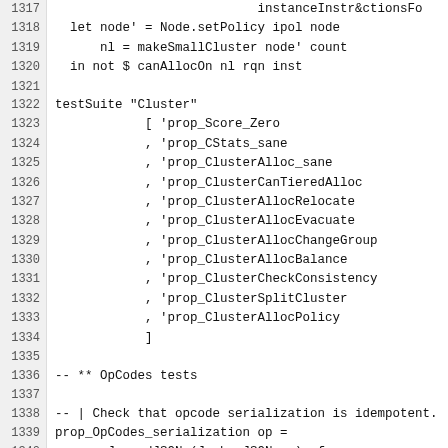Code listing lines 1317-1342 showing Haskell source code with testSuite Cluster definitions and prop_OpCodes_serialization function